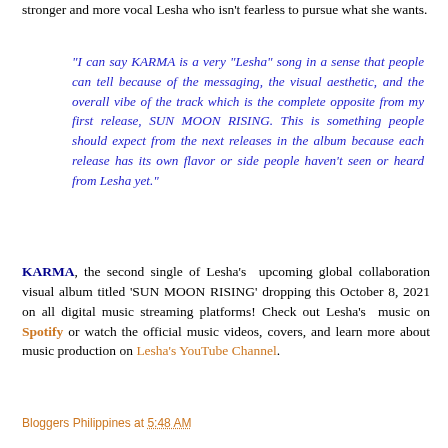stronger and more vocal Lesha who isn't fearless to pursue what she wants.
“I can say KARMA is a very “Lesha” song in a sense that people can tell because of the messaging, the visual aesthetic, and the overall vibe of the track which is the complete opposite from my first release, SUN MOON RISING. This is something people should expect from the next releases in the album because each release has its own flavor or side people haven’t seen or heard from Lesha yet.”
KARMA, the second single of Lesha’s upcoming global collaboration visual album titled ‘SUN MOON RISING’ dropping this October 8, 2021 on all digital music streaming platforms! Check out Lesha’s music on Spotify or watch the official music videos, covers, and learn more about music production on Lesha’s YouTube Channel.
Bloggers Philippines at 5:48 AM